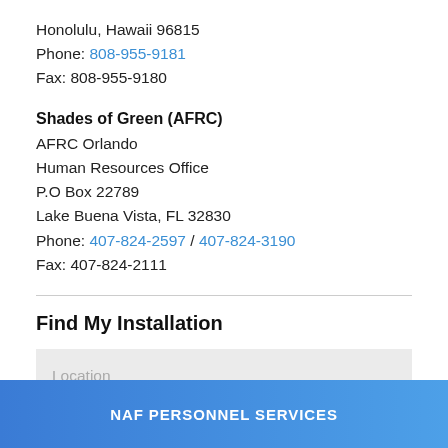Honolulu, Hawaii 96815
Phone: 808-955-9181
Fax: 808-955-9180
Shades of Green (AFRC)
AFRC Orlando
Human Resources Office
P.O Box 22789
Lake Buena Vista, FL 32830
Phone: 407-824-2597 / 407-824-3190
Fax: 407-824-2111
Find My Installation
Location
NAF PERSONNEL SERVICES